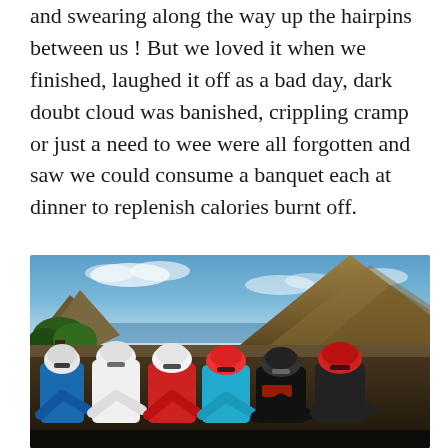and swearing along the way up the hairpins between us ! But we loved it when we finished, laughed it off as a bad day, dark doubt cloud was banished, crippling cramp or just a need to wee were all forgotten and saw we could consume a banquet each at dinner to replenish calories burnt off.
[Figure (photo): Group of six cyclists in cycling gear posing together outdoors with a dramatic rocky mountain and blue sky in the background, near the sea.]